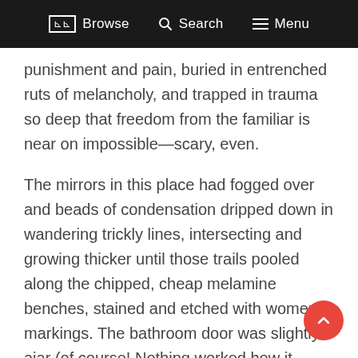Browse  Search  Menu
punishment and pain, buried in entrenched ruts of melancholy, and trapped in trauma so deep that freedom from the familiar is near on impossible—scary, even.
The mirrors in this place had fogged over and beads of condensation dripped down in wandering trickly lines, intersecting and growing thicker until those trails pooled along the chipped, cheap melamine benches, stained and etched with women's markings. The bathroom door was slightly ajar (of course! Nothing worked how it should in this shit hole) and wisps of steam filtered through the crack into the corridor. The place was otherwise quiet, as quiet as it was going to get. I hummed a familiar tune to give company to the